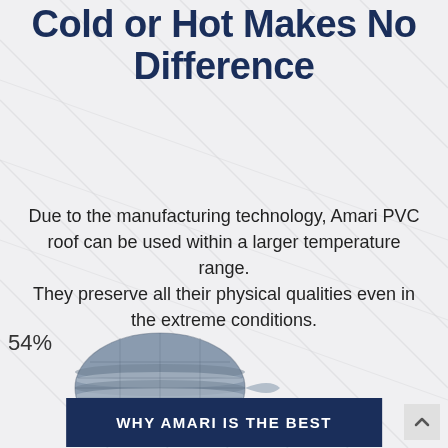With AMARI PVC Roof, Cold or Hot Makes No Difference
Due to the manufacturing technology, Amari PVC roof can be used within a larger temperature range.
They preserve all their physical qualities even in the extreme conditions.
WHY AMARI IS THE BEST
54%
[Figure (photo): A roll of Amari PVC roofing material shown from the end, displaying the layered grey/blue striped cylindrical roll.]